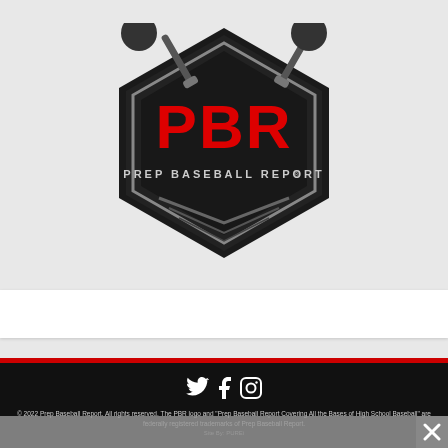[Figure (logo): Prep Baseball Report (PBR) logo — black home-plate shaped shield with red 'PBR' lettering and 'PREP BASEBALL REPORT' text below, crossed baseball bats above]
[Figure (illustration): White horizontal bar / search bar region]
© 2022 Prep Baseball Report. All rights reserved. The PBR logo and "Prep Baseball Report Covering All the Bases of High School Baseball" are federally registered trademarks of Prep Baseball Report. Site By: PUREi